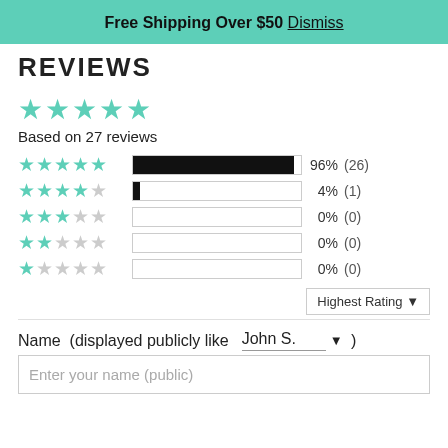Free Shipping Over $50 Dismiss
REVIEWS
[Figure (other): 5 filled teal stars overall rating]
Based on 27 reviews
[Figure (bar-chart): Rating distribution]
Highest Rating ▼
Name  (displayed publicly like    John S.    ▼ )
Enter your name (public)